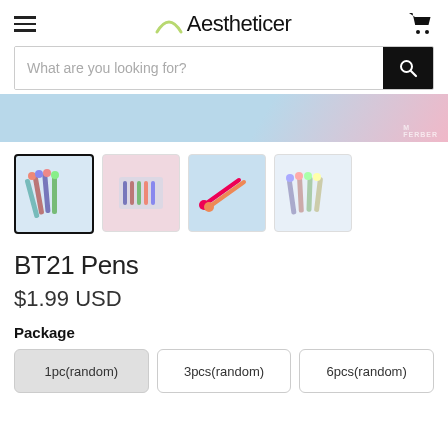Aestheticer
What are you looking for?
[Figure (photo): Promotional banner with blue and pink pastel background]
[Figure (photo): Four product thumbnail images of BT21 Pens]
BT21 Pens
$1.99 USD
Package
1pc(random)
3pcs(random)
6pcs(random)